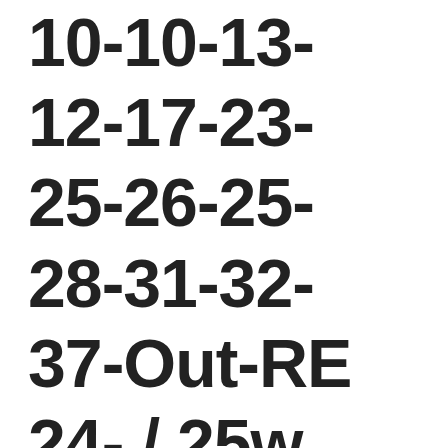10-10-13-
12-17-23-
25-26-25-
28-31-32-
37-Out-RE
24- / 25w